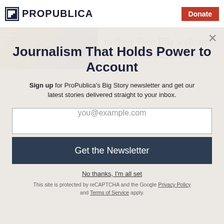ProPublica | Donate
to their Free File websites that shielded them from
Journalism That Holds Power to Account
Sign up for ProPublica's Big Story newsletter and get our latest stories delivered straight to your inbox.
you@example.com
Get the Newsletter
No thanks, I'm all set
This site is protected by reCAPTCHA and the Google Privacy Policy and Terms of Service apply.